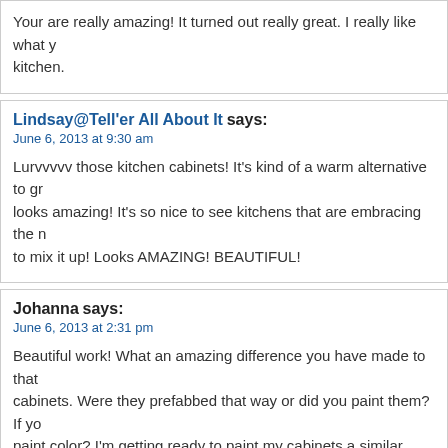Your are really amazing! It turned out really great. I really like what y... kitchen.
Lindsay@Tell'er All About It says:
June 6, 2013 at 9:30 am

Lurvvvvv those kitchen cabinets! It's kind of a warm alternative to gr... looks amazing! It's so nice to see kitchens that are embracing the n... to mix it up! Looks AMAZING! BEAUTIFUL!
Johanna says:
June 6, 2013 at 2:31 pm

Beautiful work! What an amazing difference you have made to that... cabinets. Were they prefabbed that way or did you paint them? If yo... paint color? I'm getting ready to paint my cabinets a similar shade a... that I've actually seen. :)
Thanks!
Liz - It's Great To Be Home says: